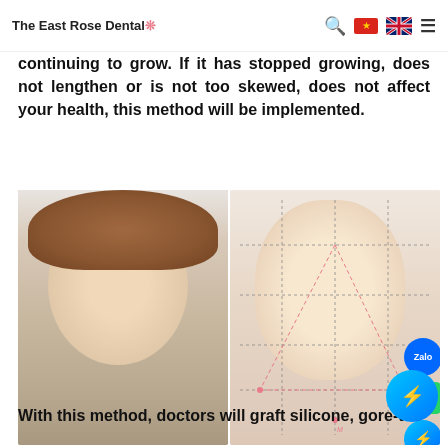The East Rose Dental
continuing to grow. If it has stopped growing, does not lengthen or is not too skewed, does not affect your health, this method will be implemented.
[Figure (photo): Two side-by-side photos: left shows a young woman with brown hair in a braid; right shows a woman's face with golden ratio/facial proportion grid lines overlaid. Social media buttons (Zalo, WhatsApp, Messenger) visible on the right edge.]
Chin implant is safe, does not interfere with bo...
With this method, doctors will graft silicone, gore-tex